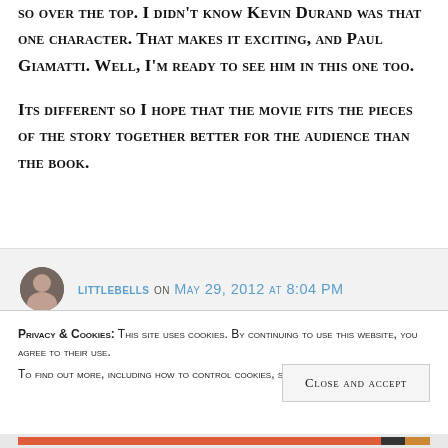so over the top. I didn't know Kevin Durand was that one character. That makes it exciting, and Paul Giamatti. Well, I'm ready to see him in this one too.

Its different so I hope that the movie fits the pieces of the story together better for the audience than the book.
littlebells on May 29, 2012 at 8:04 PM
Privacy & Cookies: This site uses cookies. By continuing to use this website, you agree to their use. To find out more, including how to control cookies, see here: Cookie Policy
Close and accept